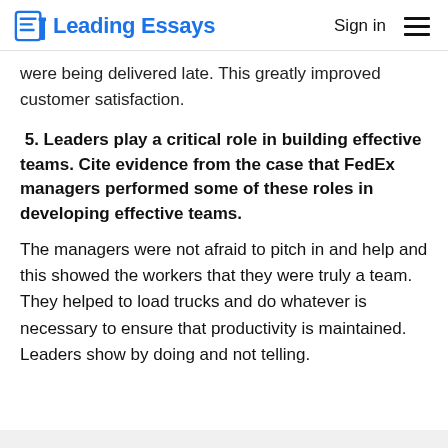Leading Essays  Sign in ☰
were being delivered late. This greatly improved customer satisfaction.
5. Leaders play a critical role in building effective teams. Cite evidence from the case that FedEx managers performed some of these roles in developing effective teams.
The managers were not afraid to pitch in and help and this showed the workers that they were truly a team. They helped to load trucks and do whatever is necessary to ensure that productivity is maintained. Leaders show by doing and not telling.